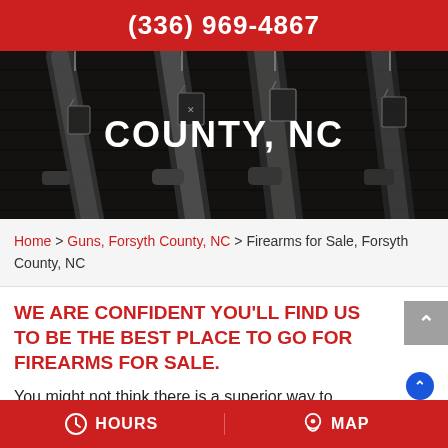(336) 969-4867
[Figure (photo): Dark background photo of rifles/firearms hanging on a wall rack in a gun shop, with tags attached, viewed from below]
COUNTY, NC
Home > Guns, Forsyth County, NC > Firearms for Sale, Forsyth County, NC
WE ARE CONFIDENT YOU'LL FIND US TO BE THE BEST PLACE TO GO FOR FIREARMS FOR SALE.
You might not think there is a superior way to shop for firearms for
Sign our waiver +
HOURS   MAP